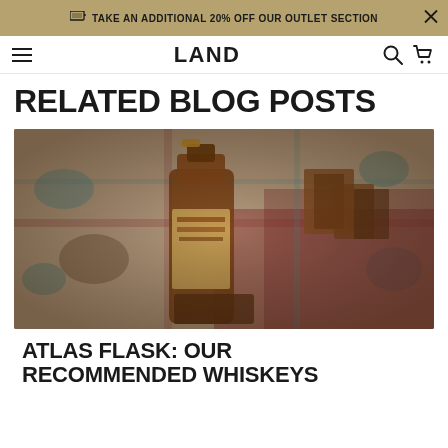TAKE AN ADDITIONAL 20% OFF OUR OUTLET SECTION
[Figure (logo): LAND brand logo navigation bar with hamburger menu, search icon, and cart icon]
RELATED BLOG POSTS
[Figure (photo): A bottle of Bulleit Bourbon whiskey lying on a colorful patterned rug with books and leather accessories]
ATLAS FLASK: OUR RECOMMENDED WHISKEYS